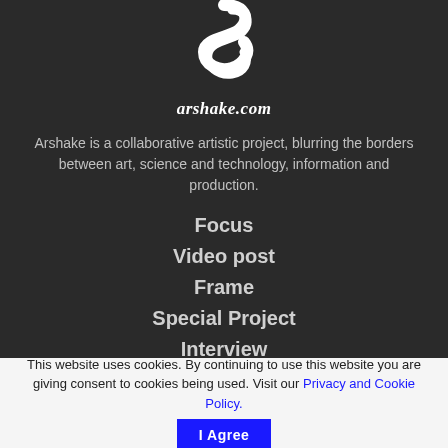[Figure (logo): White stylized S-shape logo on dark background for arshake.com]
arshake.com
Arshake is a collaborative artistic project, blurring the borders between art, science and technology, information and production.
Focus
Video post
Frame
Special Project
Interview
Calls
Exhibitions
This website uses cookies. By continuing to use this website you are giving consent to cookies being used. Visit our Privacy and Cookie Policy.
I Agree